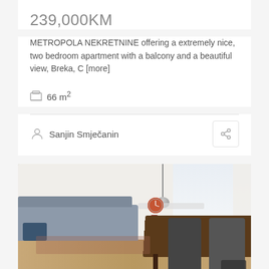239,000KM
METROPOLA NEKRETNINE offering a extremely nice, two bedroom apartment with a balcony and a beautiful view, Breka, C [more]
66 m²
Sanjin Smječanin
[Figure (photo): Interior photo of an apartment showing a dining room with a wooden table and dark chairs in the foreground, a grey sofa in the background left, a pendant light hanging from the ceiling, a wall clock, and a bright window with curtains on the right. The floor is parquet/hardwood.]